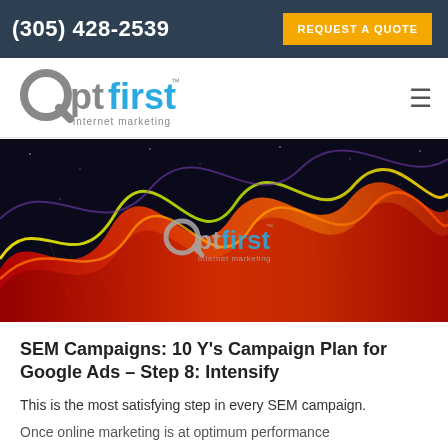(305) 428-2539 | REQUEST A QUOTE
[Figure (logo): OptFirst Internet Marketing logo]
[Figure (photo): Dark background with colorful red, yellow and orange wave/waveform art, with OptFirst internet marketing logo watermark in center]
SEM Campaigns: 10 Y's Campaign Plan for Google Ads – Step 8: Intensify
This is the most satisfying step in every SEM campaign.
Once online marketing is at optimum performance